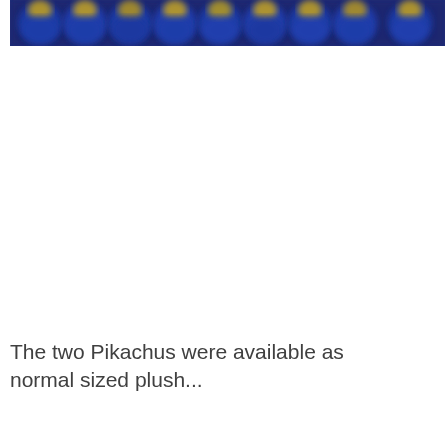[Figure (photo): A blurred row of Pikachu plush toys wearing blue and yellow sports jerseys, shown across the top of the page.]
The two Pikachus were available as normal sized plush...